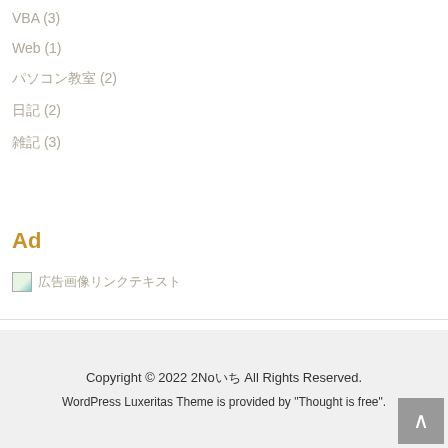VBA (3)
Web (1)
パソコン教室 (2)
日記 (2)
雑記 (3)
Ad
[Figure (other): Broken image icon with Japanese text label for advertisement]
Copyright © 2022 2Noいち All Rights Reserved.
WordPress Luxeritas Theme is provided by "Thought is free".